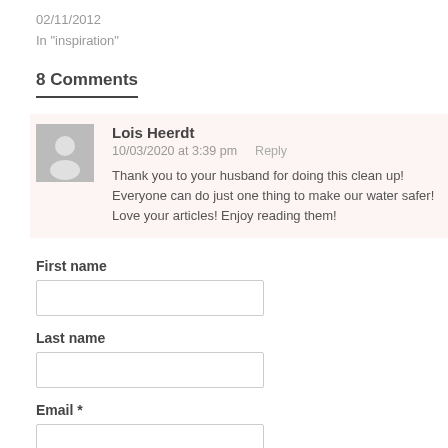02/11/2012
In "inspiration"
8 Comments
Lois Heerdt
10/03/2020 at 3:39 pm   Reply
Thank you to your husband for doing this clean up! Everyone can do just one thing to make our water safer! Love your articles! Enjoy reading them!
First name
Last name
Email *